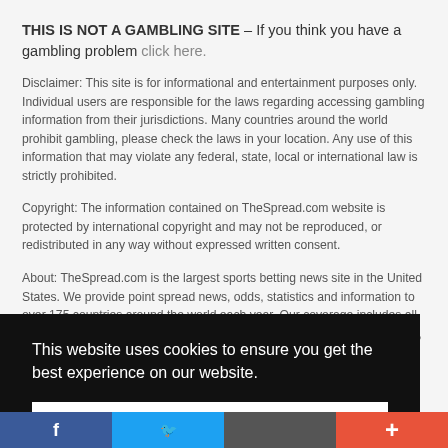THIS IS NOT A GAMBLING SITE – If you think you have a gambling problem click here.
Disclaimer: This site is for informational and entertainment purposes only. Individual users are responsible for the laws regarding accessing gambling information from their jurisdictions. Many countries around the world prohibit gambling, please check the laws in your location. Any use of this information that may violate any federal, state, local or international law is strictly prohibited.
Copyright: The information contained on TheSpread.com website is protected by international copyright and may not be reproduced, or redistributed in any way without expressed written consent.
About: TheSpread.com is the largest sports betting news site in the United States. We provide point spread news, odds, statistics and information to over 175 countries around the world each year. Our coverage includes all North American College and Professional Sports as well as entertainment, political and proposition wagering news.
This website uses cookies to ensure you get the best experience on our website.
Got it!